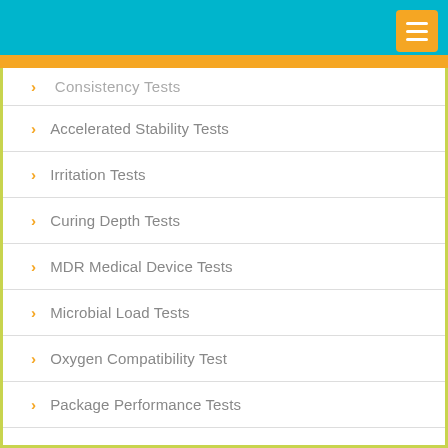Consistency Tests
Accelerated Stability Tests
Irritation Tests
Curing Depth Tests
MDR Medical Device Tests
Microbial Load Tests
Oxygen Compatibility Test
Package Performance Tests
Packaging Validation Tests